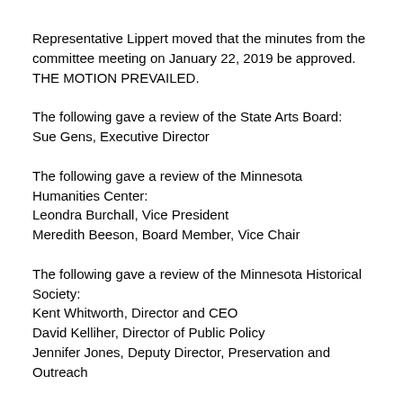Representative Lippert moved that the minutes from the committee meeting on January 22, 2019 be approved. THE MOTION PREVAILED.
The following gave a review of the State Arts Board:
Sue Gens, Executive Director
The following gave a review of the Minnesota Humanities Center:
Leondra Burchall, Vice President
Meredith Beeson, Board Member, Vice Chair
The following gave a review of the Minnesota Historical Society:
Kent Whitworth, Director and CEO
David Kelliher, Director of Public Policy
Jennifer Jones, Deputy Director, Preservation and Outreach
The meeting was adjourned at 9:33 AM.